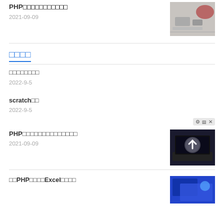PHP□□□□□□□□□□□
2021-09-09
□□□□
□□□□□□□□
2022-9-5
scratch□□
2022-9-5
PHP□□□□□□□□□□□□□□
2021-09-09
□□PHP□□□□Excel□□□□